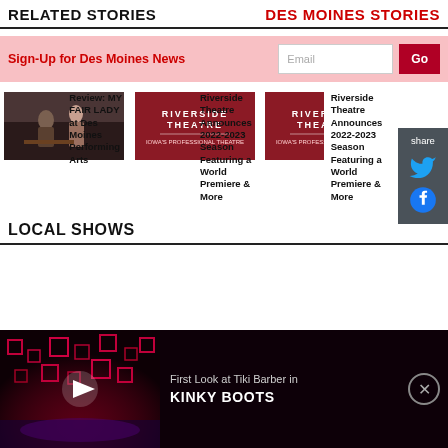RELATED STORIES | DES MOINES STORIES
Sign-Up for Des Moines News
[Figure (screenshot): Email input field and Go button for newsletter signup]
[Figure (screenshot): Share panel on right side with Twitter and Facebook icons]
[Figure (photo): Scene from MY FAIR LADY stage production]
Review: MY FAIR LADY at Des Moines Performing Arts
[Figure (photo): Riverside Theatre logo on red background]
Riverside Theatre Announces 2022-2023 Season Featuring a World Premiere & More
[Figure (photo): Riverside Theatre logo on red background]
Riverside Theatre Announces 2022-2023 Season Featuring a World Premiere & More
LOCAL SHOWS
[Figure (screenshot): Video player showing First Look at Tiki Barber in KINKY BOOTS with stage backdrop]
First Look at Tiki Barber in KINKY BOOTS